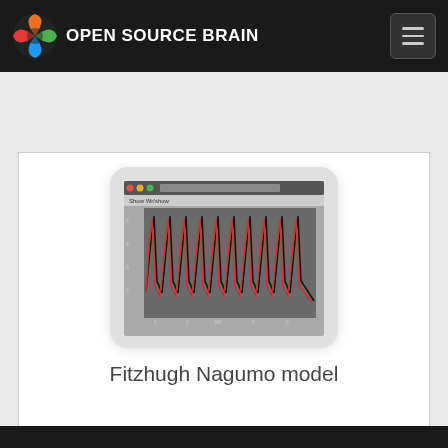OPEN SOURCE BRAIN
[Figure (screenshot): Screenshot of a simulation visualization showing oscillating waveforms (black and red traces) resembling action potentials in what appears to be a neuroscience simulation software window, displayed within a rounded rectangle card.]
Fitzhugh Nagumo model
[Figure (other): Partially visible card at the bottom of the page, content not visible.]